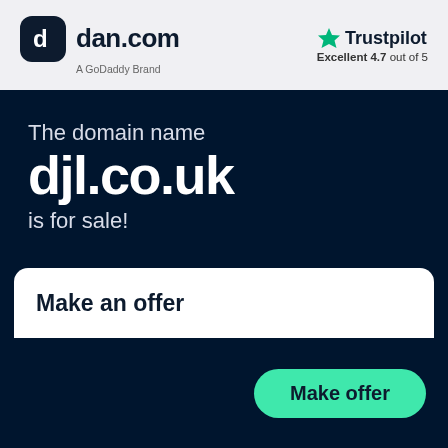[Figure (logo): dan.com logo — dark rounded square icon with 'd' letter, beside bold text 'dan.com', subtitle 'A GoDaddy Brand']
[Figure (logo): Trustpilot logo — green star icon beside 'Trustpilot' text, below: 'Excellent 4.7 out of 5']
The domain name
djl.co.uk
is for sale!
Make an offer
Make offer